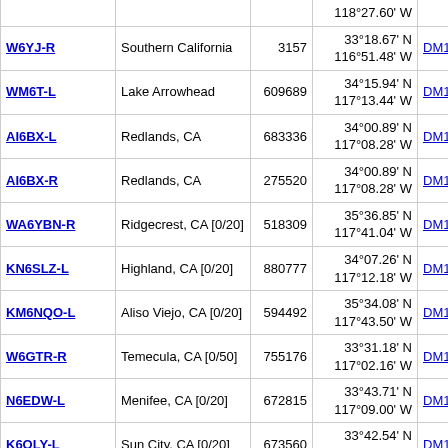| Callsign | Location | Node ID | Coordinates | Grid | Dist |
| --- | --- | --- | --- | --- | --- |
|  |  |  | 118°27.60' W |  |  |
| W6YJ-R | Southern California | 3157 | 33°18.67' N
116°51.48' W | DM13nh | 1872.7 |
| WM6T-L | Lake Arrowhead | 609689 | 34°15.94' N
117°13.44' W | DM14jg | 1873.6 |
| AI6BX-L | Redlands, CA | 683336 | 34°00.89' N
117°08.28' W | DM14ka | 1873.8 |
| AI6BX-R | Redlands, CA | 275520 | 34°00.89' N
117°08.28' W | DM14ka | 1873.8 |
| WA6YBN-R | Ridgecrest, CA [0/20] | 518309 | 35°36.85' N
117°41.04' W | DM15do | 1875.1 |
| KN6SLZ-L | Highland, CA [0/20] | 880777 | 34°07.26' N
117°12.18' W | DM14jc | 1875.3 |
| KM6NQO-L | Aliso Viejo, CA [0/20] | 594492 | 35°34.08' N
117°43.50' W | DM15dn | 1878.1 |
| W6GTR-R | Temecula, CA [0/50] | 755176 | 33°31.18' N
117°02.16' W | DM13lm | 1878.1 |
| N6EDW-L | Menifee, CA [0/20] | 672815 | 33°43.71' N
117°09.00' W | DM13kr | 1880.1 |
| K6OLY-L | Sun City, CA [0/20] | 673560 | 33°42.54' N
117°11.82' W | DM13jr | 1883.1 |
| V44KR-R | St. Kitt's W.I. [0/15] | 182460 | 17°20.12' N
62°44.15' W | FK87pi | 1883.5 |
| VE3JOP-R | In Conference
WX4E-R [2/15] | 4546 | 17°20.12' N
62°44.15' W | FK87pi | 1883.5 |
| VP2M-R | Montserrat W.I. [0/15] | 538694 | 17°20.12' N | FK87pi | 1883.5 |